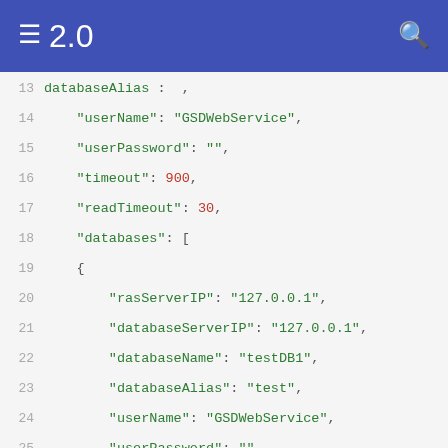≡  2.0  🔍
[Figure (screenshot): Code editor screenshot showing JSON configuration lines 13–34 with line numbers, green string keys/values, and red numeric/boolean values on a light gray background.]